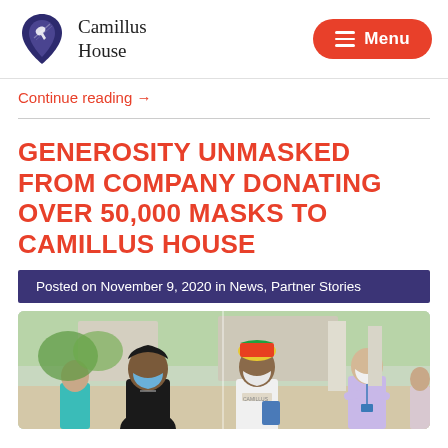Camillus House | Menu
Continue reading →
GENEROSITY UNMASKED FROM COMPANY DONATING OVER 50,000 MASKS TO CAMILLUS HOUSE
Posted on November 9, 2020 in News, Partner Stories
[Figure (photo): Group of people wearing face masks outdoors, some standing in conversation]